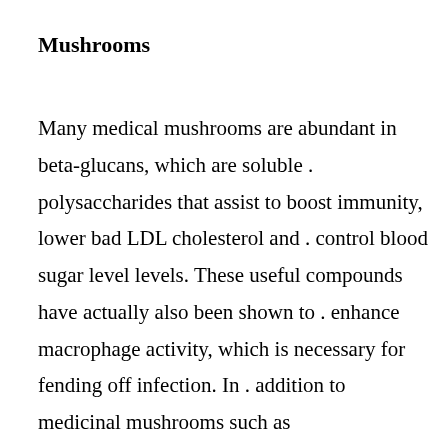Mushrooms
Many medical mushrooms are abundant in beta-glucans, which are soluble . polysaccharides that assist to boost immunity, lower bad LDL cholesterol and . control blood sugar level levels. These useful compounds have actually also been shown to . enhance macrophage activity, which is necessary for fending off infection. In . addition to medicinal mushrooms such as